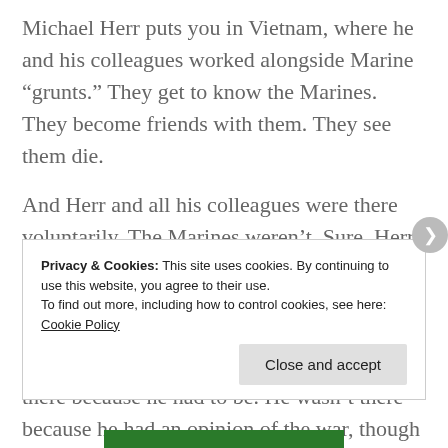Michael Herr puts you in Vietnam, where he and his colleagues worked alongside Marine “grunts.” They get to know the Marines. They become friends with them. They see them die.
And Herr and all his colleagues were there voluntarily. The Marines weren’t. Sure, Herr wasn’t holding a gun, but that doesn’t mean he wasn’t in the war. His stories are more affecting, more truthful than any other portrayal of war I’ve ever read. He wasn’t there because he had to be. He wasn’t there because he had an opinion of the war, though he clearly did. He was
Privacy & Cookies: This site uses cookies. By continuing to use this website, you agree to their use.
To find out more, including how to control cookies, see here: Cookie Policy